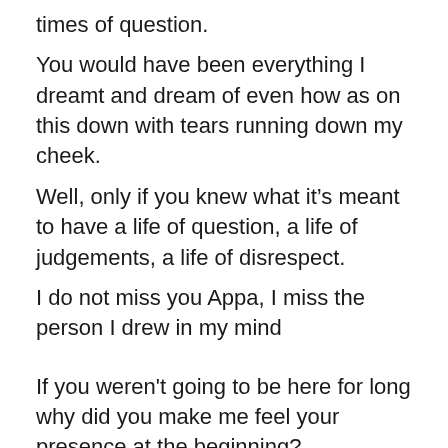times of question.
You would have been everything I dreamt and dream of even how as on this down with tears running down my cheek.
Well, only if you knew what it’s meant to have a life of question, a life of judgements, a life of disrespect.
I do not miss you Appa, I miss the person I drew in my mind
If you weren't going to be here for long why did you make me feel your presence at the beginning?
If you weren't going to be here for long why did you fight for my birth?
If you weren't going to be here for long why did you have to make me realise your absence that will haunt me for life?
If you weren't going to be here for long why did you